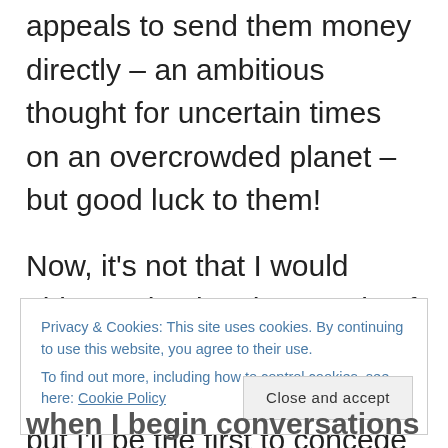appeals to send them money directly – an ambitious thought for uncertain times on an overcrowded planet – but good luck to them!
Now, it's not that I would object to having thousands of followers and getting some cash for my literary efforts, but I'll be the first to concede that I'd starve to death if my livelihood depended on attracting tens of thousands of followers. Fortunately, as a retired person, I can scrape by
Privacy & Cookies: This site uses cookies. By continuing to use this website, you agree to their use.
To find out more, including how to control cookies, see here: Cookie Policy
when I begin conversations on topics that interest